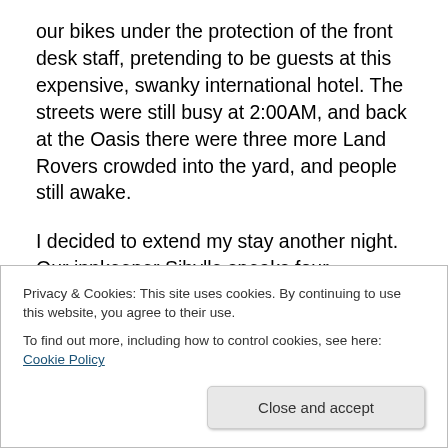our bikes under the protection of the front desk staff, pretending to be guests at this expensive, swanky international hotel. The streets were still busy at 2:00AM, and back at the Oasis there were three more Land Rovers crowded into the yard, and people still awake.
I decided to extend my stay another night. Our innkeeper Sibylle speaks four languages fluently and several others passably, and has the most natural talent for hospitality. Like the best Vermont innkeepers I know (that's you, Doug and Shelly), she is constantly working but never too busy
Privacy & Cookies: This site uses cookies. By continuing to use this website, you agree to their use.
To find out more, including how to control cookies, see here: Cookie Policy
Close and accept